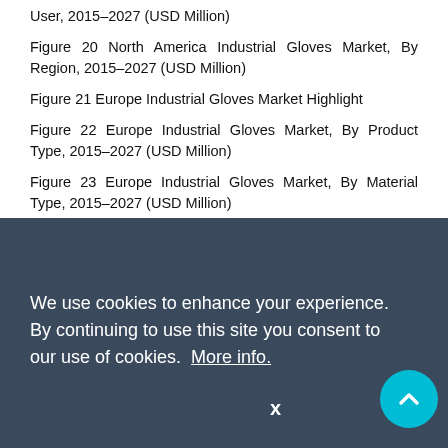User, 2015–2027 (USD Million)
Figure 20 North America Industrial Gloves Market, By Region, 2015–2027 (USD Million)
Figure 21 Europe Industrial Gloves Market Highlight
Figure 22 Europe Industrial Gloves Market, By Product Type, 2015–2027 (USD Million)
Figure 23 Europe Industrial Gloves Market, By Material Type, 2015–2027 (USD Million)
Figure 24 Europe Industrial Gloves Market, By End-User, 2015–2027 (USD Million)
Figure 25 Europe Industrial Gloves Market, By Region, 2015–2027 (USD Million)
Figure 26 Asia-Pacific Industrial Gloves Market Highlight
Figure 27 Asia-Pacific Industrial Gloves Market, By Product Type, 2015–2027 (USD Million)
Figure 28 Asia-Pacific Industrial Gloves Market, By Material Type
Figure 29 Asia-Pacific Industrial Gloves Market, By End-
We use cookies to enhance your experience. By continuing to use this site you consent to our use of cookies. More info.